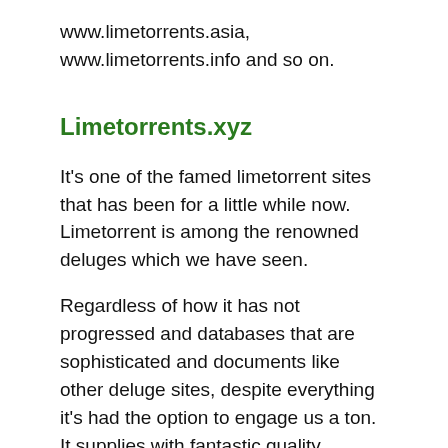www.limetorrents.asia, www.limetorrents.info and so on.
Limetorrents.xyz
It's one of the famed limetorrent sites that has been for a little while now. Limetorrent is among the renowned deluges which we have seen.
Regardless of how it has not progressed and databases that are sophisticated and documents like other deluge sites, despite everything it's had the option to engage us a ton. It supplies with fantastic quality substance and has existed for quite a while.
It's among the best limetorrents unblocked, therefore it works very fast. There are a lot of websites through which you can without a great deal of stretch work out how to access to this downpour website. Here